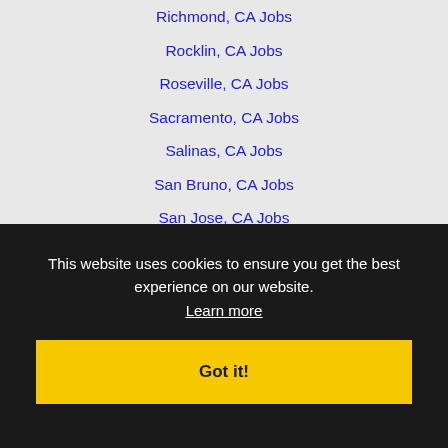Richmond, CA Jobs
Rocklin, CA Jobs
Roseville, CA Jobs
Sacramento, CA Jobs
Salinas, CA Jobs
San Bruno, CA Jobs
San Jose, CA Jobs
San Leandro, CA Jobs
San Mateo, CA Jobs
San Rafael, CA Jobs
San Ramon, CA Jobs
Santa Cruz, CA Jobs
San Francisco, CA Jobs
Stockton, CA Jobs
Sunnyvale, CA Jobs
Tracy, CA Jobs
Union City, CA Jobs
Vacaville, CA Jobs
This website uses cookies to ensure you get the best experience on our website. Learn more
Got it!